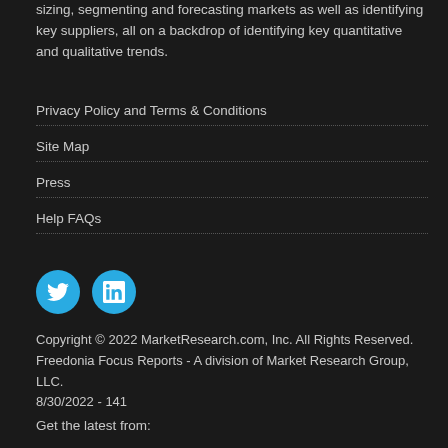sizing, segmenting and forecasting markets as well as identifying key suppliers, all on a backdrop of identifying key quantitative and qualitative trends.
Privacy Policy and Terms & Conditions
Site Map
Press
Help FAQs
[Figure (logo): Twitter and LinkedIn social media icon circles in cyan blue]
Copyright © 2022 MarketResearch.com, Inc. All Rights Reserved. Freedonia Focus Reports - A division of Market Research Group, LLC. 8/30/2022 - 141
Get the latest from: